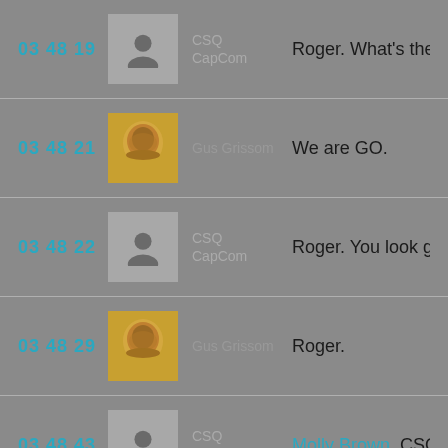03 48 19 | CSQ CapCom | Roger. What's the status?
03 48 21 | Gus Grissom | We are GO.
03 48 22 | CSQ CapCom | Roger. You look good from th...
03 48 29 | Gus Grissom | Roger.
03 48 43 | CSQ CapCom | Molly Brown, CSQ. Let me kn...